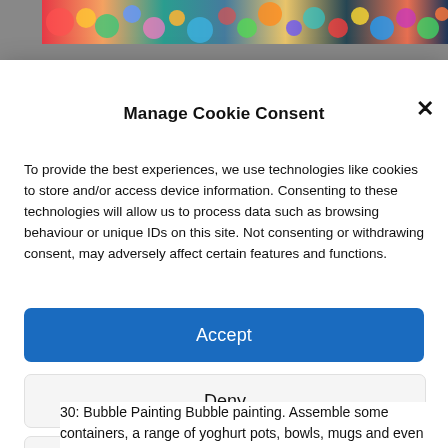[Figure (photo): Colorful bubbles/balls banner image at the top of the page]
Manage Cookie Consent
To provide the best experiences, we use technologies like cookies to store and/or access device information. Consenting to these technologies will allow us to process data such as browsing behaviour or unique IDs on this site. Not consenting or withdrawing consent, may adversely affect certain features and functions.
Accept
Deny
View preferences
Cookie Policy   Privacy & Cookie Policy, Terms of Use
30: Bubble Painting Bubble painting. Assemble some containers, a range of yoghurt pots, bowls, mugs and even trays. Put some paint, water and